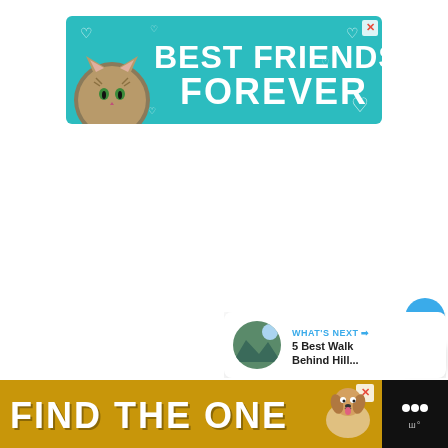[Figure (infographic): Advertisement banner with teal background, cat illustration, hearts, and bold white text reading 'BEST FRIENDS FOREVER']
[Figure (infographic): Sidebar UI showing a blue heart button, count of 1, and a share button]
[Figure (infographic): What's Next card with thumbnail image and text '5 Best Walk Behind Hill...']
[Figure (infographic): Bottom advertisement banner with gold/yellow background, bold white text 'FIND THE ONE', dog illustration, and close button]